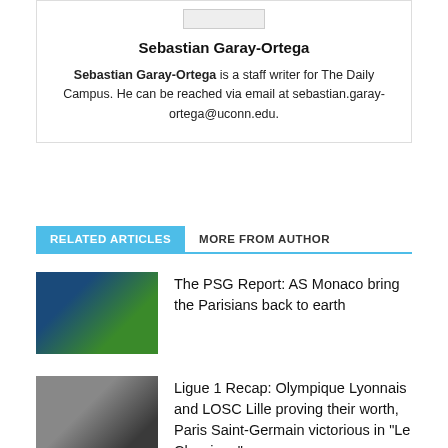[Figure (photo): Author profile box with placeholder logo image at top]
Sebastian Garay-Ortega
Sebastian Garay-Ortega is a staff writer for The Daily Campus. He can be reached via email at sebastian.garay-ortega@uconn.edu.
RELATED ARTICLES   MORE FROM AUTHOR
[Figure (photo): Soccer players in red and white jerseys on field, PSG article thumbnail]
The PSG Report: AS Monaco bring the Parisians back to earth
[Figure (photo): Soccer player in white jersey on field, Ligue 1 recap article thumbnail]
Ligue 1 Recap: Olympique Lyonnais and LOSC Lille proving their worth, Paris Saint-Germain victorious in "Le Classique"